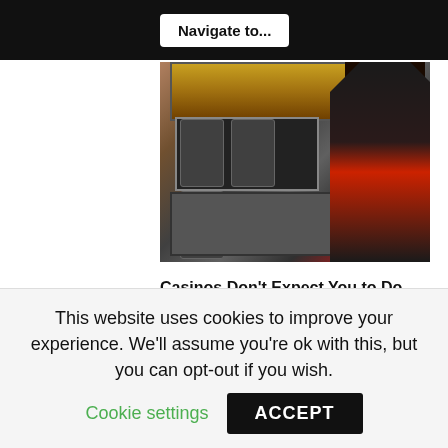Navigate to...
[Figure (photo): A woman in a black and red uniform looking at the open interior mechanism of a slot machine]
Casinos Don't Expect You to Do This; but They Can't Stop You
BuzzDaily Winners
This website uses cookies to improve your experience. We'll assume you're ok with this, but you can opt-out if you wish. Cookie settings ACCEPT